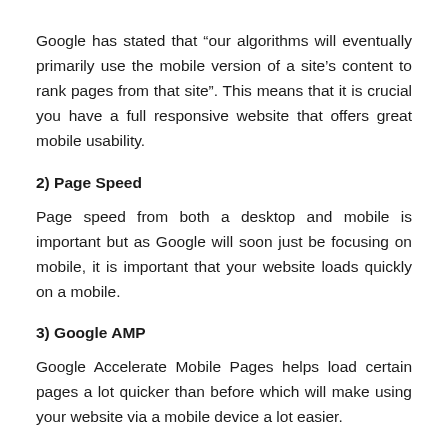Google has stated that “our algorithms will eventually primarily use the mobile version of a site’s content to rank pages from that site”. This means that it is crucial you have a full responsive website that offers great mobile usability.
2) Page Speed
Page speed from both a desktop and mobile is important but as Google will soon just be focusing on mobile, it is important that your website loads quickly on a mobile.
3) Google AMP
Google Accelerate Mobile Pages helps load certain pages a lot quicker than before which will make using your website via a mobile device a lot easier.